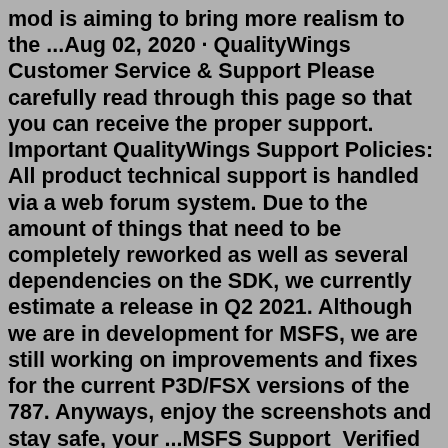mod is aiming to bring more realism to the ...Aug 02, 2020 · QualityWings Customer Service & Support Please carefully read through this page so that you can receive the proper support. Important QualityWings Support Policies: All product technical support is handled via a web forum system. Due to the amount of things that need to be completely reworked as well as several dependencies on the SDK, we currently estimate a release in Q2 2021. Although we are in development for MSFS, we are still working on improvements and fixes for the current P3D/FSX versions of the 787. Anyways, enjoy the screenshots and stay safe, your ...MSFS Support  Verified account ... As a "premium" aircraft, the default B787 has been a shame since release. We all can't wait for the Quality Wings B787 to replace this so called "premium" aircraft in the simulator. 1 reply 0 retweets 16 likes. Reply. 1. Retweet. Retweeted. Like. 16. Liked. 16.Full Coverage for MSFS, FSX, P3D, FS2004 & X-Plane MAX your X-Plane experience! So understand it as a tribute to Ireland and the British